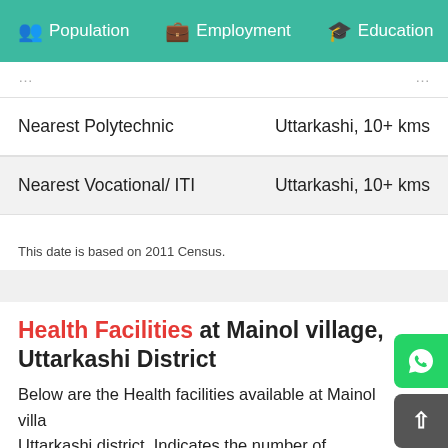Population | Employment | Education | He...
| Facility | Distance |
| --- | --- |
| Nearest Polytechnic | Uttarkashi, 10+ kms |
| Nearest Vocational/ ITI | Uttarkashi, 10+ kms |
This date is based on 2011 Census.
Health Facilities at Mainol village, Uttarkashi District
Below are the Health facilities available at Mainol village, Uttarkashi district. Indicates the number of Community Health Centres, Primary Health Centres, Hospitals and